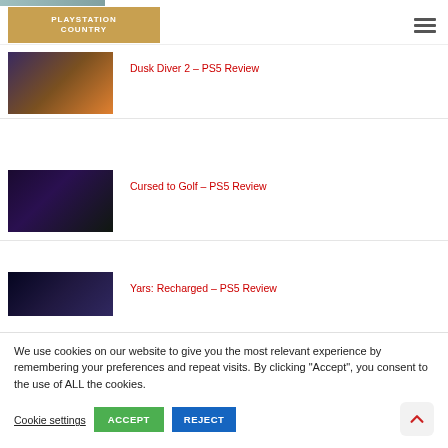PlayStation Country — navigation header with logo and hamburger menu
[Figure (screenshot): Thumbnail image for Dusk Diver 2 PS5 Review article]
Dusk Diver 2 – PS5 Review
[Figure (screenshot): Thumbnail image for Cursed to Golf PS5 Review article]
Cursed to Golf – PS5 Review
[Figure (screenshot): Thumbnail image for Yars: Recharged PS5 Review article]
Yars: Recharged – PS5 Review
We use cookies on our website to give you the most relevant experience by remembering your preferences and repeat visits. By clicking "Accept", you consent to the use of ALL the cookies.
Cookie settings
ACCEPT
REJECT